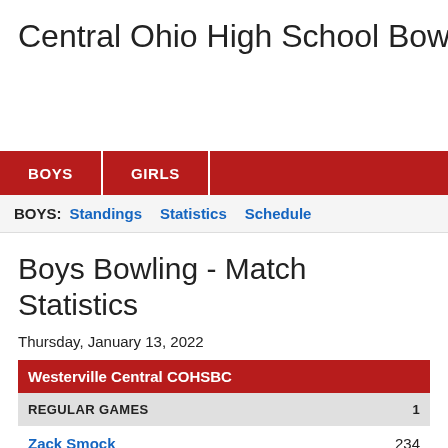Central Ohio High School Bowling C
BOYS   GIRLS
BOYS: Standings  Statistics  Schedule
Boys Bowling - Match Statistics
Thursday, January 13, 2022
| Westerville Central COHSBC | 1 |
| --- | --- |
| REGULAR GAMES | 1 |
| Zack Smock | 234 |
| Logan Henslee | 204 |
| Kyle Richardson | 178 |